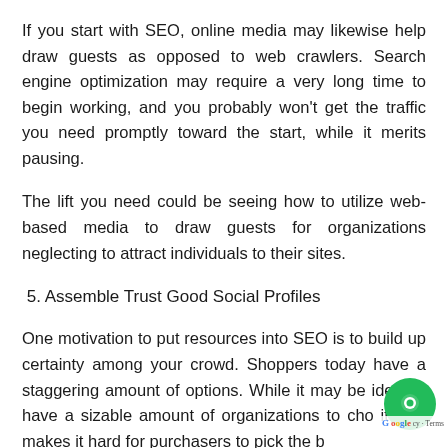If you start with SEO, online media may likewise help draw guests as opposed to web crawlers. Search engine optimization may require a very long time to begin working, and you probably won't get the traffic you need promptly toward the start, while it merits pausing.
The lift you need could be seeing how to utilize web-based media to draw guests for organizations neglecting to attract individuals to their sites.
5. Assemble Trust Good Social Profiles
One motivation to put resources into SEO is to build up certainty among your crowd. Shoppers today have a staggering amount of options. While it may be ideal to have a sizable amount of organizations to cho… it also makes it hard for purchasers to pick the b…